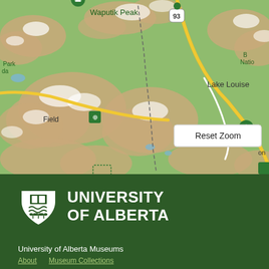[Figure (map): Google Maps style topographic map showing the Lake Louise and Mt Temple area in Banff National Park, Alberta, Canada. Shows Waputik Peak with a green location pin and mountain icon, highway 93, Lake Louise label, Mt Temple with a green location pin and mountain icon, Field location, a dashed trail/path line, yellow highways, green terrain, and a Reset Zoom button overlay.]
[Figure (logo): University of Alberta shield logo in white]
UNIVERSITY OF ALBERTA
University of Alberta Museums
About    Museum Collections